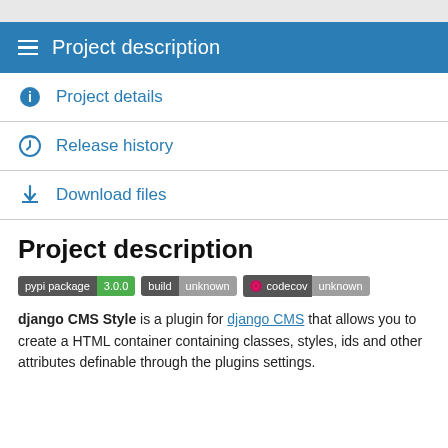Project description
Project details
Release history
Download files
Project description
[Figure (other): Badges: pypi package 3.0.0, build unknown, codecov unknown]
django CMS Style is a plugin for django CMS that allows you to create a HTML container containing classes, styles, ids and other attributes definable through the plugins settings.